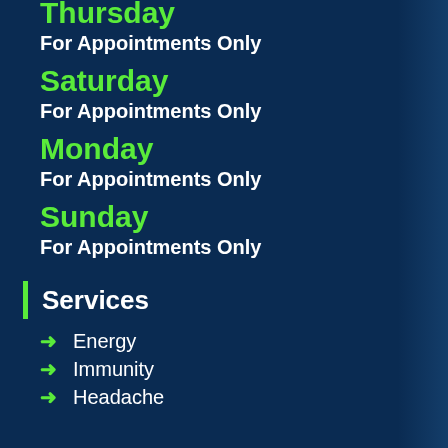Thursday
For Appointments Only
Saturday
For Appointments Only
Monday
For Appointments Only
Sunday
For Appointments Only
Services
Energy
Immunity
Headache